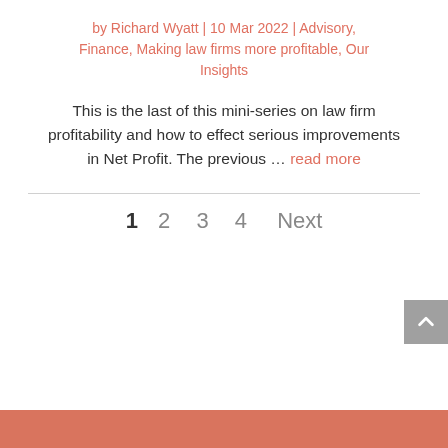by Richard Wyatt | 10 Mar 2022 | Advisory, Finance, Making law firms more profitable, Our Insights
This is the last of this mini-series on law firm profitability and how to effect serious improvements in Net Profit. The previous … read more
1  2  3  4  Next